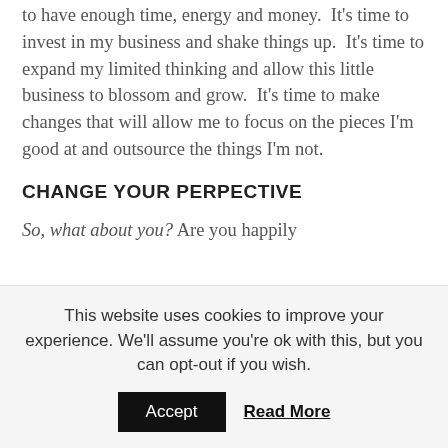to have enough time, energy and money.  It's time to invest in my business and shake things up.  It's time to expand my limited thinking and allow this little business to blossom and grow.  It's time to make changes that will allow me to focus on the pieces I'm good at and outsource the things I'm not.
CHANGE YOUR PERPECTIVE
So, what about you? Are you happily
This website uses cookies to improve your experience. We'll assume you're ok with this, but you can opt-out if you wish.